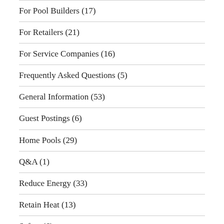For Pool Builders (17)
For Retailers (21)
For Service Companies (16)
Frequently Asked Questions (5)
General Information (53)
Guest Postings (6)
Home Pools (29)
Q&A (1)
Reduce Energy (33)
Retain Heat (13)
Safety (6)
Recent Posts
Not Another New Year's Blog Post